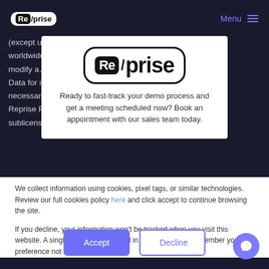Reprise — Menu
(except u… worldwide… modify a… Data for i… necessary… Reprise P… sublicens…
[Figure (logo): Reprise logo in modal popup: stylized (Re)/prise text in black with rounded rectangle border]
Ready to fast-track your demo process and get a meeting scheduled now? Book an appointment with our sales team today.
We collect information using cookies, pixel tags, or similar technologies. Review our full cookies policy here and click accept to continue browsing the site.
If you decline, your information won't be tracked when you visit this website. A single cookie will be used in your browser to remember your preference not to be tracked.